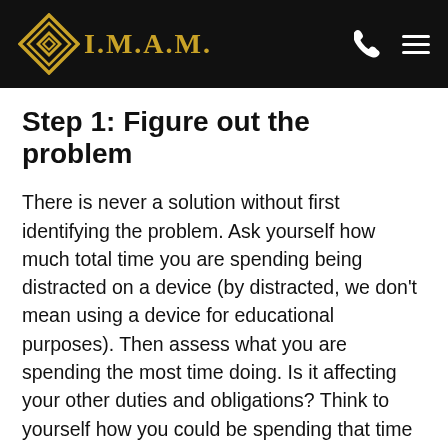I.M.A.M.
Step 1: Figure out the problem
There is never a solution without first identifying the problem. Ask yourself how much total time you are spending being distracted on a device (by distracted, we don't mean using a device for educational purposes). Then assess what you are spending the most time doing. Is it affecting your other duties and obligations? Think to yourself how you could be spending that time differently. What could you have